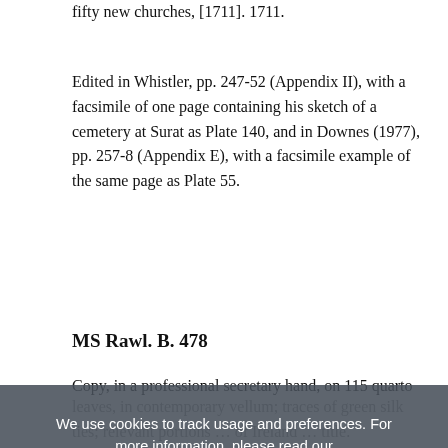fifty new churches, [1711]. 1711.
Edited in Whistler, pp. 247-52 (Appendix II), with a facsimile of one page containing his sketch of a cemetery at Surat as Plate 140, and in Downes (1977), pp. 257-8 (Appendix E), with a facsimile example of the same page as Plate 55.
MS Rawl. B. 478
Copy, in a professional secretary hand, on 115 quarto leaves, in contemporary vellum; traces of green silk ties; relevant portions (ff. 2-121) from a transcript of Ireland material, including items attributed to Spenser. At f. 1bᴰ and then headed ‘A Vewe of the pʳesnte state of Irelande’ by ways of a dialogue betweene Eudoxus and Ireneus’. Prepared for intended publication in 1598, with a note at the end
We use cookies to track usage and preferences. For more information, please read our Privacy & Cookie Policy. ACCEPT